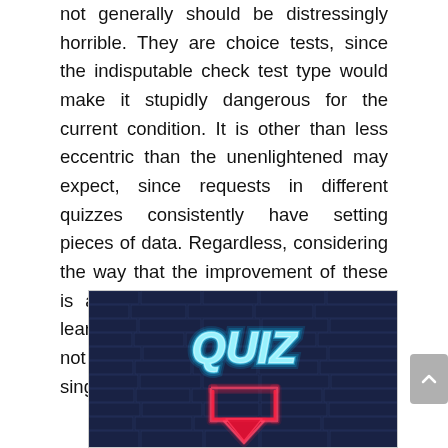not generally should be distressingly horrible. They are choice tests, since the indisputable check test type would make it stupidly dangerous for the current condition. It is other than less eccentric than the unenlightened may expect, since requests in different quizzes consistently have setting pieces of data. Regardless, considering the way that the improvement of these is arranged coming about to making learning words all the more clear does not suggest that you will get every single word on the boss go.
[Figure (photo): A neon 'QUIZ' sign in glowing blue letters with a red neon arrow pointing downward, against a dark brick wall background.]